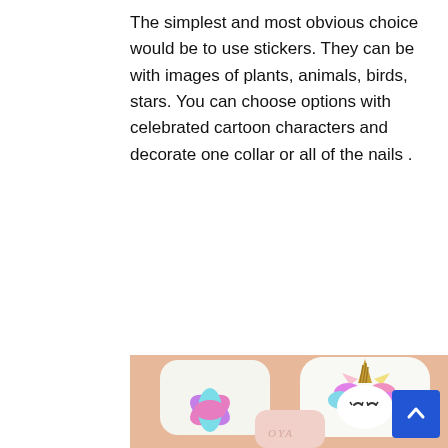The simplest and most obvious choice would be to use stickers. They can be with images of plants, animals, birds, stars. You can choose options with celebrated cartoon characters and decorate one collar or all of the nails .
[Figure (photo): Close-up photo of decorated fingernails showing unicorn nail art design with glitter, a unicorn face with golden horn, colorful flowers, rainbow designs on white base nails, and pink glitter nail, holding a Zoya nail polish bottle.]